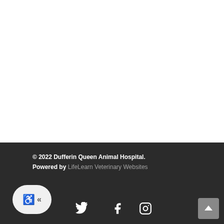© 2022 Dufferin Queen Animal Hospital. Powered by LifeLearn Veterinary Websites